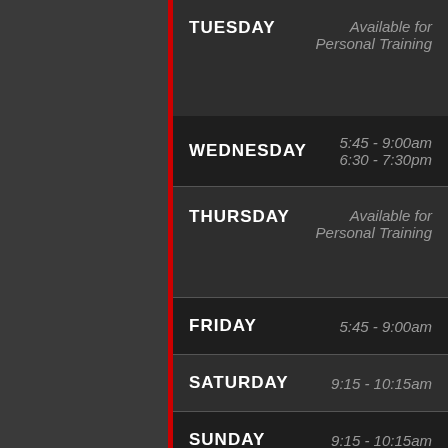| Day | Time |
| --- | --- |
| TUESDAY | Available for Personal Training |
| WEDNESDAY | 5:45 - 9:00am
6:30 - 7:30pm |
| THURSDAY | Available for Personal Training |
| FRIDAY | 5:45 - 9:00am |
| SATURDAY | 9:15 - 10:15am |
| SUNDAY | 9:15 - 10:15am |